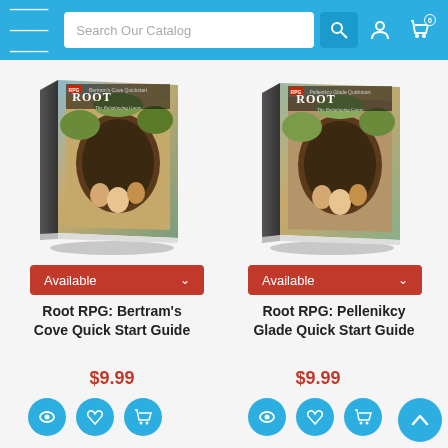Search Our Catalog
[Figure (photo): Root RPG Bertram's Cove Quick Start Guide book cover — illustrated woodland animal characters around a tree hollow]
[Figure (photo): Root RPG Pellenikcy Glade Quick Start Guide book cover — illustrated woodland animal characters around a tree hollow]
Available
Available
Root RPG: Bertram's Cove Quick Start Guide
Root RPG: Pellenikcy Glade Quick Start Guide
$9.99
$9.99